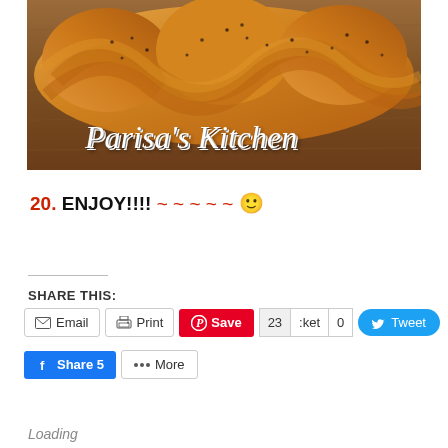[Figure (photo): Braided bread loaf with poppy seeds on a wooden cutting board, with 'Parisa's Kitchen' text overlaid in white italic script at the bottom]
20. ENJOY!!!! ~ ~ ~ ~ ~ 🙂
SHARE THIS:
Email  Print  Save  23  :ket  0  Tweet  Share 5  More
Loading